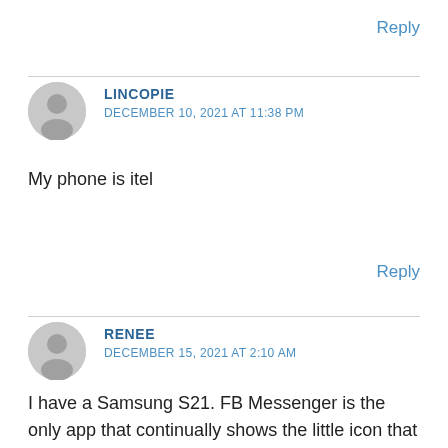Reply
LINCOPIE
DECEMBER 10, 2021 AT 11:38 PM
My phone is itel
Reply
RENEE
DECEMBER 15, 2021 AT 2:10 AM
I have a Samsung S21. FB Messenger is the only app that continually shows the little icon that it's drawing...